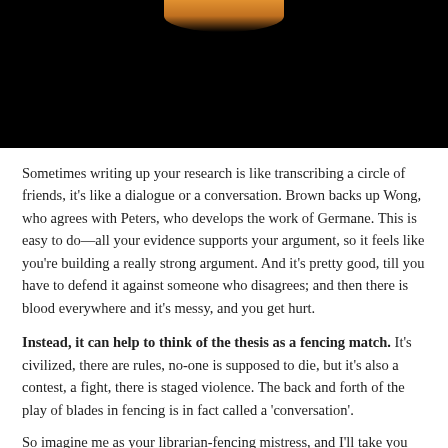[Figure (photo): A photograph showing a person in an orange/yellow outfit, likely demonstrating fencing or a similar activity, against a dark background with decorative elements.]
Sometimes writing up your research is like transcribing a circle of friends, it's like a dialogue or a conversation. Brown backs up Wong, who agrees with Peters, who develops the work of Germane. This is easy to do—all your evidence supports your argument, so it feels like you're building a really strong argument.  And it's pretty good, till you have to defend it against someone who disagrees; and then there is blood everywhere and it's messy, and you get hurt.
Instead, it can help to think of the thesis as a fencing match. It's civilized, there are rules, no-one is supposed to die, but it's also a contest, a fight, there is staged violence.  The back and forth of the play of blades in fencing is in fact called a 'conversation'.
So imagine me as your librarian-fencing mistress, and I'll take you